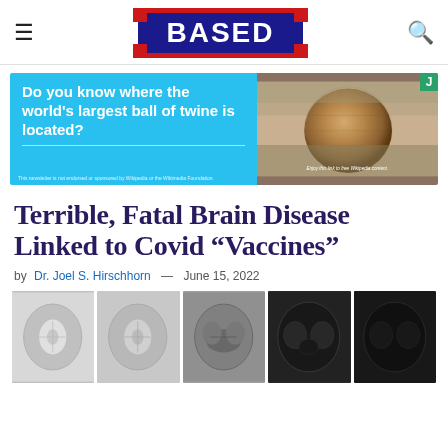BASED
[Figure (screenshot): Advertisement banner: left side cyan/blue background with white text 'Do you know where the world's largest ball of twine is located?' and Wikipedia disclaimer. Right side shows a photo of the world's largest ball of twine with caption 'Enjoy this link to free Wikipedia content.' and a green J badge.]
Terrible, Fatal Brain Disease Linked to Covid “Vaccines”
by Dr. Joel S. Hirschhorn — June 15, 2022
[Figure (photo): Strip of five brain MRI scan images showing axial cross-sections, ranging from normal-appearing white/grey tones on the left to increasingly dark/abnormal-appearing scans on the right.]